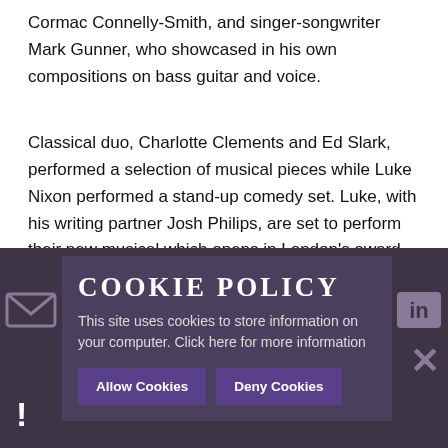Cormac Connelly-Smith, and singer-songwriter Mark Gunner, who showcased in his own compositions on bass guitar and voice.
Classical duo, Charlotte Clements and Ed Slark, performed a selection of musical pieces while Luke Nixon performed a stand-up comedy set. Luke, with his writing partner Josh Philips, are set to perform their new musical which opens in London's award-winning Canal Café Theatre in February.
[Figure (screenshot): Cookie policy overlay banner with title 'COOKIE POLICY', body text 'This site uses cookies to store information on your computer. Click here for more information', and two buttons: 'Allow Cookies' and 'Deny Cookies'. Dark purple/grey background with email and LinkedIn icons visible, a close X icon, and an exclamation mark icon.]